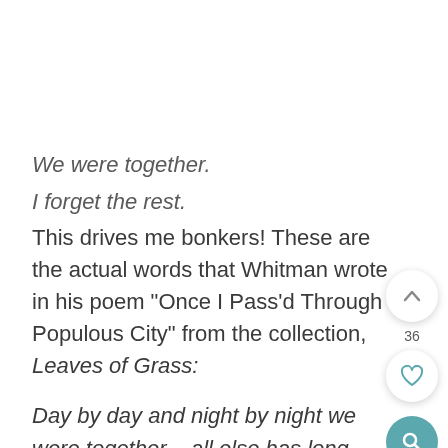We were together.
I forget the rest.
This drives me bonkers! These are the actual words that Whitman wrote in his poem "Once I Pass'd Through a Populous City" from the collection, Leaves of Grass:
Day by day and night by night we were together – all else has long been forgotten by me.